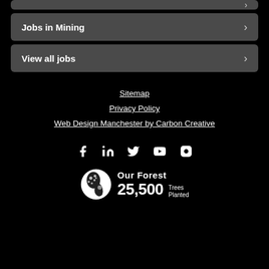Jobs in Mining
View all jobs
Sitemap
Privacy Policy
Web Design Manchester by Carbon Creative
[Figure (infographic): Social media icons: Facebook, LinkedIn, Twitter, YouTube, Instagram]
[Figure (logo): Our Forest logo with text: Our Forest 25,500 Trees Planted]